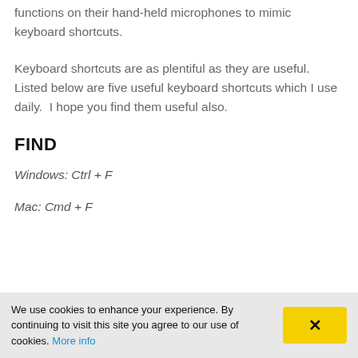Some medical professionals program the button functions on their hand-held microphones to mimic keyboard shortcuts.
Keyboard shortcuts are as plentiful as they are useful. Listed below are five useful keyboard shortcuts which I use daily.  I hope you find them useful also.
FIND
Windows: Ctrl + F
Mac: Cmd + F
We use cookies to enhance your experience. By continuing to visit this site you agree to our use of cookies. More info